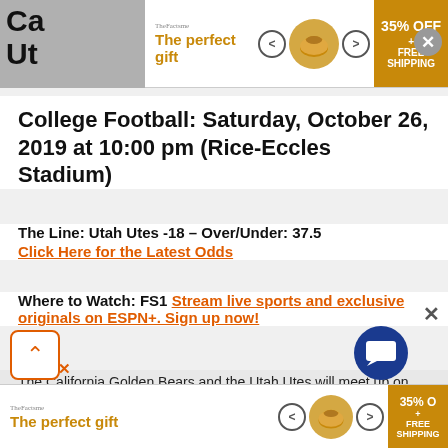[Figure (infographic): Top advertisement banner: 'The perfect gift' with bowl image and '35% OFF + FREE SHIPPING' offer]
College Football: Saturday, October 26, 2019 at 10:00 pm (Rice-Eccles Stadium)
The Line: Utah Utes -18 – Over/Under: 37.5 Click Here for the Latest Odds
Where to Watch: FS1 Stream live sports and exclusive originals on ESPN+. Sign up now!
The California Golden Bears and the Utah Utes will meet up on the college football circuit Saturday.
Cal comes in here at 4-3 so far. The Bears have wi...
[Figure (infographic): Bottom advertisement banner: 'The perfect gift' with bowl image and '35% OFF + FREE SHIPPING' offer]